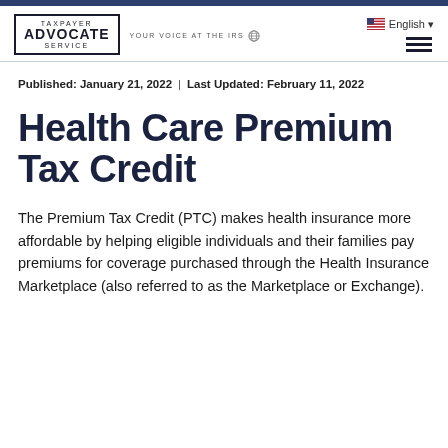Taxpayer Advocate Service — YOUR VOICE AT THE IRS
Published: January 21, 2022 | Last Updated: February 11, 2022
Health Care Premium Tax Credit
The Premium Tax Credit (PTC) makes health insurance more affordable by helping eligible individuals and their families pay premiums for coverage purchased through the Health Insurance Marketplace (also referred to as the Marketplace or Exchange).